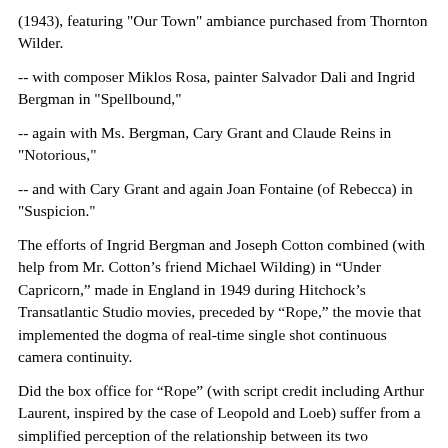(1943), featuring "Our Town" ambiance purchased from Thornton Wilder.
-- with composer Miklos Rosa, painter Salvador Dali and Ingrid Bergman in "Spellbound,"
-- again with Ms. Bergman, Cary Grant and Claude Reins in "Notorious,"
-- and with Cary Grant and again Joan Fontaine (of Rebecca) in "Suspicion."
The efforts of Ingrid Bergman and Joseph Cotton combined (with help from Mr. Cotton’s friend Michael Wilding) in “Under Capricorn,” made in England in 1949 during Hitchock’s Transatlantic Studio movies, preceded by “Rope,” the movie that implemented the dogma of real-time single shot continuous camera continuity.
Did the box office for “Rope” (with script credit including Arthur Laurent, inspired by the case of Leopold and Loeb) suffer from a simplified perception of the relationship between its two murderers?
Did "Under Capricorn" suffer from its Ingrid-Bergman-has-a-baby-with-Roberto-Rosselini synchronicity?